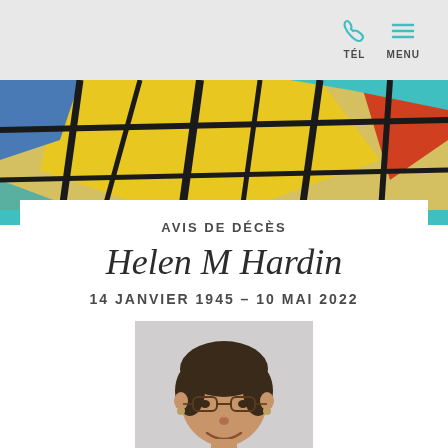TÉL   MENU
[Figure (photo): Colorful stained glass artwork banner with yellow, blue, black, and orange geometric shapes]
AVIS DE DÉCÈS
Helen M Hardin
14 JANVIER 1945 – 10 MAI 2022
[Figure (photo): Portrait photo of Helen M Hardin, a woman with short dark hair wearing glasses and a green shirt, smiling]